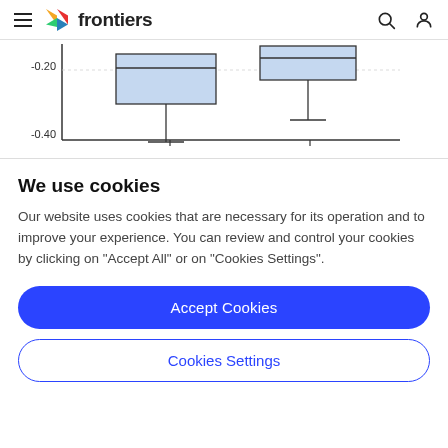frontiers
[Figure (continuous-plot): Partial box-and-whisker chart showing two box plots with vertical error bars. Y-axis shows values -0.20 and -0.40. Left box is blue/light blue, right box is also light blue. Both have whiskers extending downward.]
We use cookies
Our website uses cookies that are necessary for its operation and to improve your experience. You can review and control your cookies by clicking on "Accept All" or on "Cookies Settings".